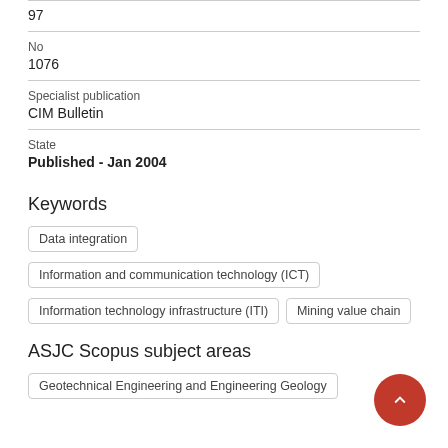97
No
1076
Specialist publication
CIM Bulletin
State
Published - Jan 2004
Keywords
Data integration
Information and communication technology (ICT)
Information technology infrastructure (ITI)
Mining value chain
ASJC Scopus subject areas
Geotechnical Engineering and Engineering Geology